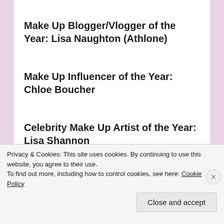Make Up Blogger/Vlogger of the Year: Lisa Naughton (Athlone)
Make Up Influencer of the Year: Chloe Boucher
Celebrity Make Up Artist of the Year: Lisa Shannon
Privacy & Cookies: This site uses cookies. By continuing to use this website, you agree to their use.
To find out more, including how to control cookies, see here: Cookie Policy
Close and accept